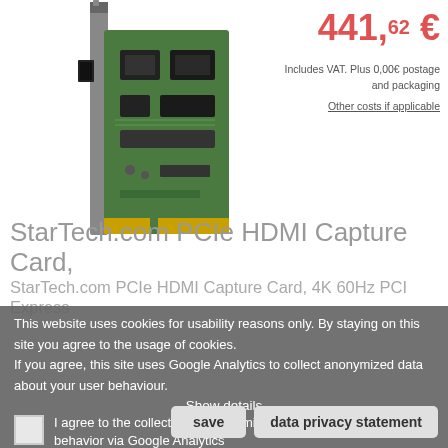[Figure (photo): StarTech.com PCIe HDMI Capture Card product photo showing a green PCIe circuit board card]
441,62 €
Includes VAT. Plus 0,00€ postage and packaging
Other costs if applicable
StarTech.com PCIe HDMI Capture Card,
StarTech.com PCIe HDMI Capture Card, 4K 60Hz PCI Express
This website uses cookies for usability reasons only. By staying on this site you agree to the usage of cookies.
If you agree, this site uses Google Analytics to collect anonymized data about your user behaviour.
Show details
I agree to the collection of anonymized data about my user behavior via Google Analytics
save
data privacy statement